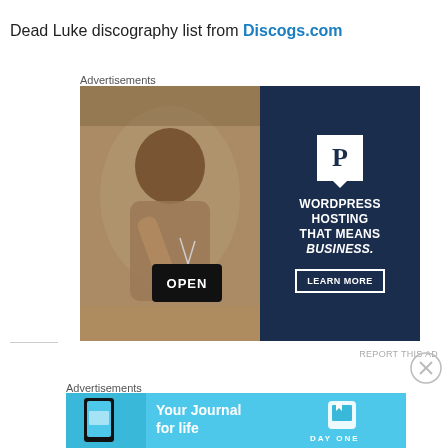Dead Luke discography list from Discogs.com
Advertisements
[Figure (photo): Advertisement for WordPress Hosting featuring a woman holding an OPEN sign on the left half and dark navy background with WordPress P logo, text 'WORDPRESS HOSTING THAT MEANS BUSINESS.' and LEARN MORE button on the right half]
REPORT THIS AD
Advertisements
[Figure (photo): Advertisement for Day One app 'Your Journal for life' on a light blue background with phone mockup on left and Day One logo on right]